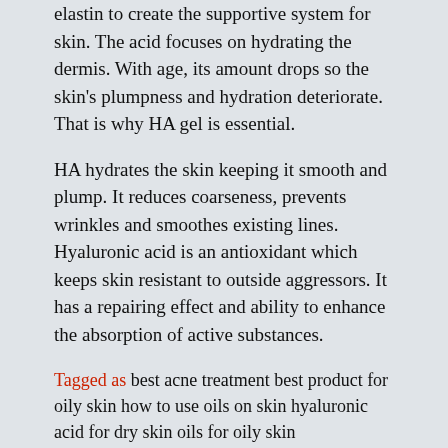elastin to create the supportive system for skin. The acid focuses on hydrating the dermis. With age, its amount drops so the skin's plumpness and hydration deteriorate. That is why HA gel is essential.
HA hydrates the skin keeping it smooth and plump. It reduces coarseness, prevents wrinkles and smoothes existing lines. Hyaluronic acid is an antioxidant which keeps skin resistant to outside aggressors. It has a repairing effect and ability to enhance the absorption of active substances.
Tagged as best acne treatment best product for oily skin how to use oils on skin hyaluronic acid for dry skin oils for oily skin
Nicky Trynide    About the Author